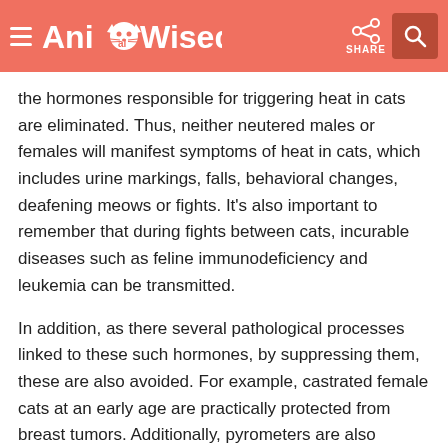AnimalWised
the hormones responsible for triggering heat in cats are eliminated. Thus, neither neutered males or females will manifest symptoms of heat in cats, which includes urine markings, falls, behavioral changes, deafening meows or fights. It's also important to remember that during fights between cats, incurable diseases such as feline immunodeficiency and leukemia can be transmitted.
In addition, as there several pathological processes linked to these such hormones, by suppressing them, these are also avoided. For example, castrated female cats at an early age are practically protected from breast tumors. Additionally, pyrometers are also avoided as well as benign breast hyperplasia or psychological pregnancies. In males, castration removes the risk of testicular pathologies.